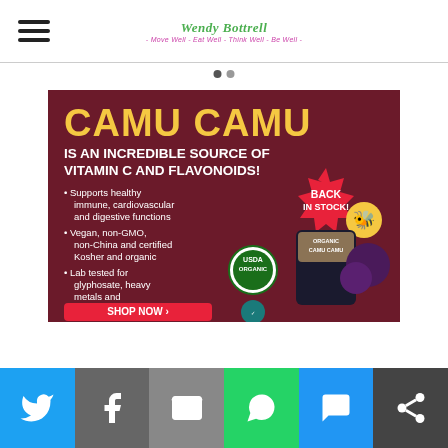Wendy Bottrell - Move Well - Eat Well - Think Well - Be Well -
[Figure (infographic): Camu Camu advertisement: 'CAMU CAMU IS AN INCREDIBLE SOURCE OF VITAMIN C AND FLAVONOIDS!' with bullet points: Supports healthy immune, cardiovascular and digestive functions; Vegan, non-GMO, non-China and certified Kosher and organic; Lab tested for glyphosate, heavy metals and microbiology. Shows USDA Organic seal, Glyphosate Tested seal, BACK IN STOCK badge, product package, and SHOP NOW button. Dark red/maroon background.]
[Figure (infographic): Social sharing bar with Twitter, Facebook, Email, WhatsApp, SMS, and Share buttons]